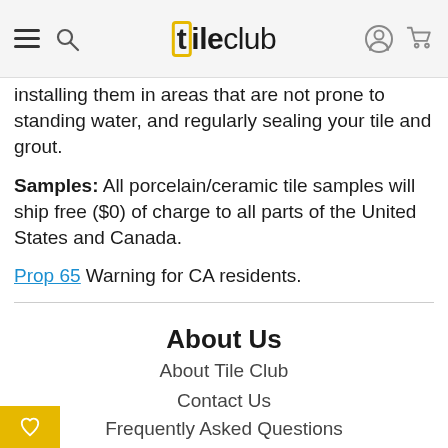[t]ileclub navigation bar with hamburger menu, search, logo, user and cart icons
installing them in areas that are not prone to standing water, and regularly sealing your tile and grout. Samples: All porcelain/ceramic tile samples will ship free ($0) of charge to all parts of the United States and Canada.
Prop 65 Warning for CA residents.
About Us
About Tile Club
Contact Us
Frequently Asked Questions
Custom Designs